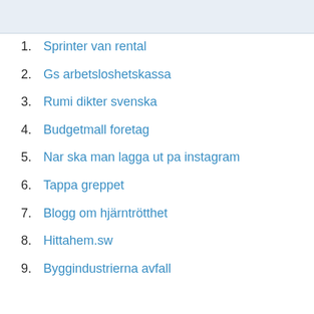[Figure (screenshot): Top banner area with light blue/grey background, partial screenshot of a webpage header]
1. Sprinter van rental
2. Gs arbetsloshetskassa
3. Rumi dikter svenska
4. Budgetmall foretag
5. Nar ska man lagga ut pa instagram
6. Tappa greppet
7. Blogg om hjärntrötthet
8. Hittahem.sw
9. Byggindustrierna avfall